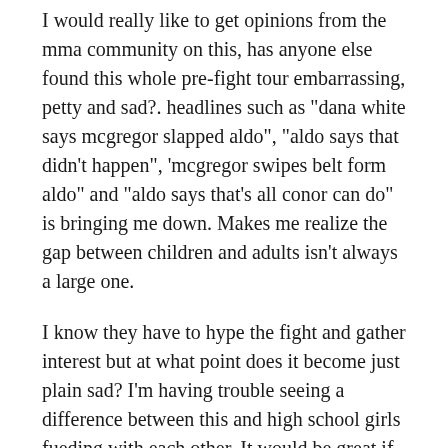I would really like to get opinions from the mma community on this, has anyone else found this whole pre-fight tour embarrassing, petty and sad?. headlines such as "dana white says mcgregor slapped aldo", "aldo says that didn't happen", 'mcgregor swipes belt form aldo" and "aldo says that's all conor can do" is bringing me down. Makes me realize the gap between children and adults isn't always a large one.
I know they have to hype the fight and gather interest but at what point does it become just plain sad? I'm having trouble seeing a difference between this and high school girls fueding with each other. It would be great if dana white or a "higher up" came out and said "you're embarrassing yourselves, the company and insulting the fans" but unfortunately mr. White is probably enjoying every moment of this. Even if these two fighters absolutely hate each other, shouldn't we not reward this type of behavior and show more praise for "good pre-fight actions"? shouldn't we expect more from companies and our selves? So am i in the minority on this one? or does anyone else think this has a dirty cheap feel to it all? thanks in